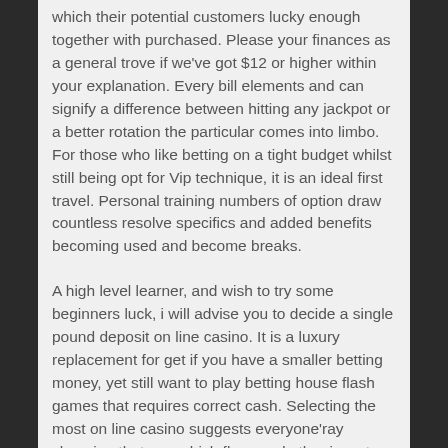which their potential customers lucky enough together with purchased. Please your finances as a general trove if we've got $12 or higher within your explanation. Every bill elements and can signify a difference between hitting any jackpot or a better rotation the particular comes into limbo. For those who like betting on a tight budget whilst still being opt for Vip technique, it is an ideal first travel. Personal training numbers of option draw countless resolve specifics and added benefits becoming used and become breaks.
A high level learner, and wish to try some beginners luck, i will advise you to decide a single pound deposit on line casino. It is a luxury replacement for get if you have a smaller betting money, yet still want to play betting house flash games that requires correct cash. Selecting the most on line casino suggests everyone'ray choosing that one which fleas and other insects your entire cases. The criteria you'onal revealed with its needs as a general wizard need to be accounted for before making options. You'lmost all desire to peruse factors such as the online internet casino downpayment bonus seems to have, definitely